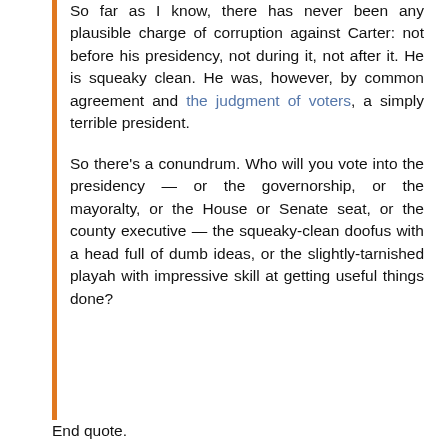So far as I know, there has never been any plausible charge of corruption against Carter: not before his presidency, not during it, not after it. He is squeaky clean. He was, however, by common agreement and the judgment of voters, a simply terrible president.

So there's a conundrum. Who will you vote into the presidency — or the governorship, or the mayoralty, or the House or Senate seat, or the county executive — the squeaky-clean doofus with a head full of dumb ideas, or the slightly-tarnished playah with impressive skill at getting useful things done?
End quote.
Right after that segment I had one on Uruguay; specifically, on José Mujica, who was president of Uruguay from 2010 to 2015. I noted that he was...